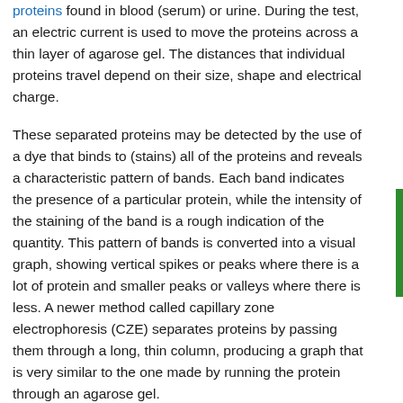proteins found in blood (serum) or urine. During the test, an electric current is used to move the proteins across a thin layer of agarose gel. The distances that individual proteins travel depend on their size, shape and electrical charge.
These separated proteins may be detected by the use of a dye that binds to (stains) all of the proteins and reveals a characteristic pattern of bands. Each band indicates the presence of a particular protein, while the intensity of the staining of the band is a rough indication of the quantity. This pattern of bands is converted into a visual graph, showing vertical spikes or peaks where there is a lot of protein and smaller peaks or valleys where there is less. A newer method called capillary zone electrophoresis (CZE) separates proteins by passing them through a long, thin column, producing a graph that is very similar to the one made by running the protein through an agarose gel.
Specific proteins of interest can be identified after the